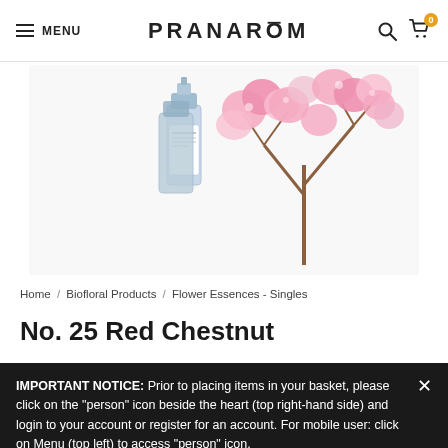MENU | PRANARŌM | [search icon] [cart icon 0]
[Figure (photo): Product image of Pranarōm biofloral dropper bottles alongside pink cherry blossom flowers on white background]
Home / Biofloral Products / Flower Essences - Singles
No. 25 Red Chestnut
IMPORTANT NOTICE: Prior to placing items in your basket, please click on the "person" icon beside the heart (top right-hand side) and login to your account or register for an account. For mobile user: click on Menu (top left) to access "person" icon.